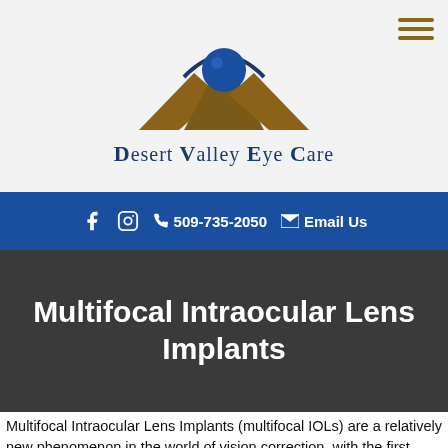[Figure (logo): Desert Valley Eye Care logo with mountain and eye graphic above text reading 'Desert Valley Eye Care']
509-735-2050  Email Us
Multifocal Intraocular Lens Implants
Multifocal Intraocular Lens Implants (multifocal IOLs) are a relatively new phenomenon in the world of vision correction, with the first FDA-approved lens hitting the market in 2005.